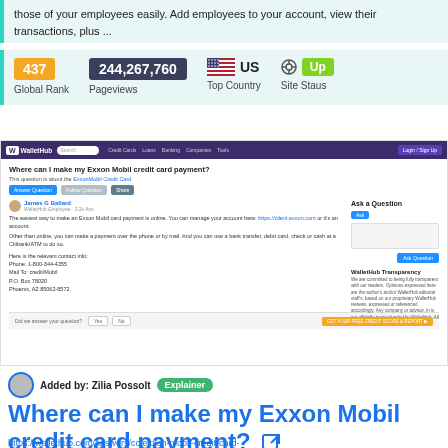those of your employees easily. Add employees to your account, view their transactions, plus ...
[Figure (infographic): Website stats: Global Rank 437 (orange badge), Pageviews 244,267,760 (dark badge), Top Country US (flag), Site Status Up (green badge)]
[Figure (screenshot): WalletHub website screenshot showing Q&A page: 'Where can I make my Exxon Mobil credit card payment?' with answer by James G Ballard and Ask a Question sidebar]
Added by: Zilia Possolt  Explainer
Where can I make my Exxon Mobil credit card payment?
https://wallethub.com/answers/cc/exxon-mobil-credit-card-